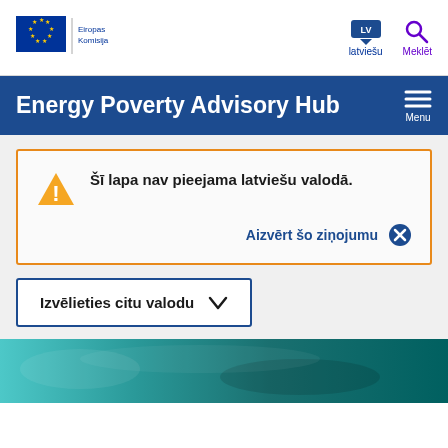[Figure (logo): European Commission logo with EU flag stars and text 'Eiropas Komisija']
latviešu | Meklēt
Energy Poverty Advisory Hub
Šī lapa nav pieejama latviešu valodā.
Aizvērt šo ziņojumu ×
Izvēlieties citu valodu ∨
[Figure (photo): Teal/dark green photo strip at bottom of page]